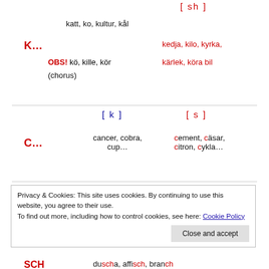[ sh ]
katt, ko, kultur, kål
K...
kedja, kilo, kyrka,
OBS! kö, kille, kör
kärlek, köra bil
(chorus)
[ k ]
[ s ]
C...
cancer, cobra, cup...
cement, cäsar, citron, cykla...
Privacy & Cookies: This site uses cookies. By continuing to use this website, you agree to their use. To find out more, including how to control cookies, see here: Cookie Policy
Close and accept
SCH
duscha, affisch, branch